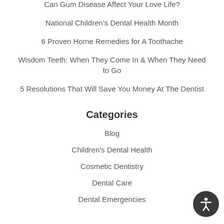Can Gum Disease Affect Your Love Life?
National Children's Dental Health Month
6 Proven Home Remedies for A Toothache
Wisdom Teeth: When They Come In & When They Need to Go
5 Resolutions That Will Save You Money At The Dentist
Categories
Blog
Children's Dental Health
Cosmetic Dentistry
Dental Care
Dental Emergencies